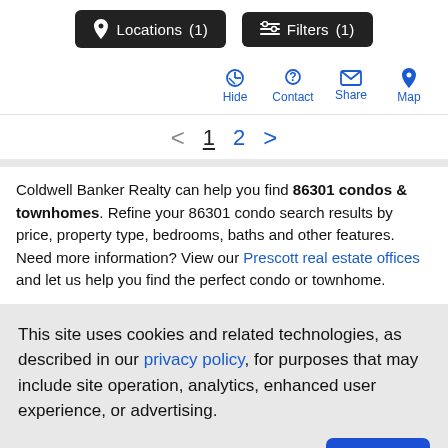Locations (1)   Filters (1)
Hide  Contact  Share  Map
< 1 2 >
Coldwell Banker Realty can help you find 86301 condos & townhomes. Refine your 86301 condo search results by price, property type, bedrooms, baths and other features. Need more information? View our Prescott real estate offices and let us help you find the perfect condo or townhome.
This site uses cookies and related technologies, as described in our privacy policy, for purposes that may include site operation, analytics, enhanced user experience, or advertising.
Manage Preferences   Accept